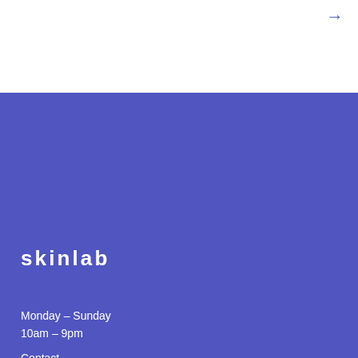→
skinlab
Monday – Sunday
10am – 9pm
Contact
Tel: 09 3636 3615
Instagram: SkinlabThailand